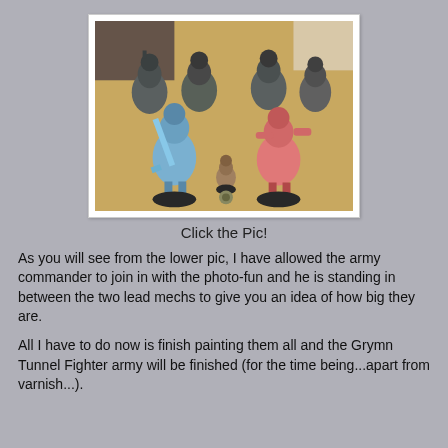[Figure (photo): Group of miniature figurines (mechs/robots) on a wooden table surface. Two prominent ones in front are painted light blue and pink, with several darker figures behind them.]
Click the Pic!
As you will see from the lower pic, I have allowed the army commander to join in with the photo-fun and he is standing in between the two lead mechs to give you an idea of how big they are.
All I have to do now is finish painting them all and the Grymn Tunnel Fighter army will be finished (for the time being...apart from varnish...).